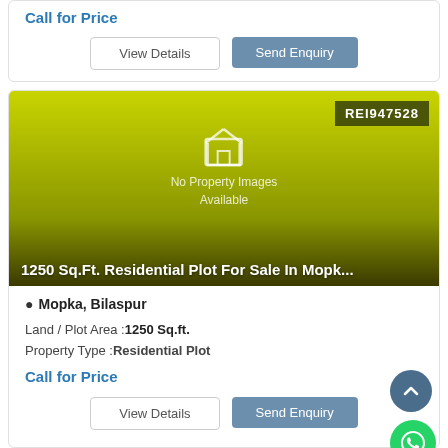Call for Price
View Details
Send Enquiry
[Figure (photo): Property listing image placeholder with yellow-green gradient background, house icon, 'No Property Images Available' text, property ID badge REI947528, and title '1250 Sq.Ft. Residential Plot For Sale In Mopk...']
Mopka, Bilaspur
Land / Plot Area :1250 Sq.ft.
Property Type :Residential Plot
Call for Price
View Details
Send Enquiry